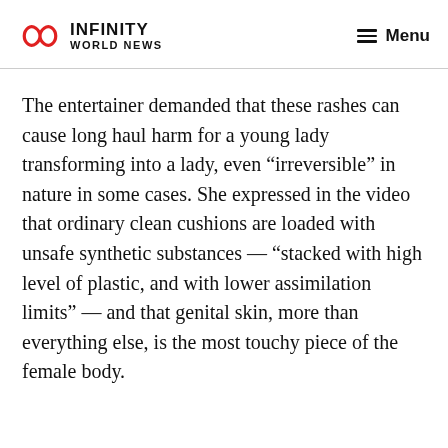INFINITY WORLD NEWS | Menu
The entertainer demanded that these rashes can cause long haul harm for a young lady transforming into a lady, even “irreversibl” in nature in some cases. She expressed in the video that ordinary clean cushions are loaded with unsafe synthetic substances — “stacked with high level of plastic, and with lower assimilation limits” — and that genital skin, more than everything else, is the most touchy piece of the female body.